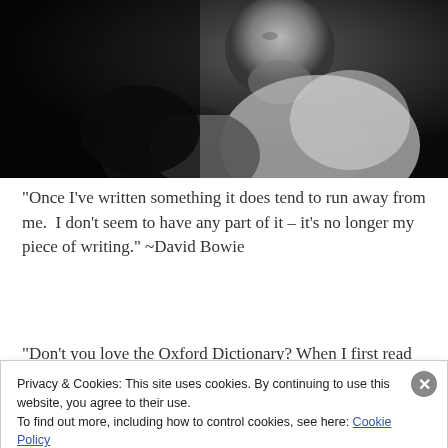[Figure (photo): Black and white photograph of an older man, partially visible, sitting with arms crossed, wearing a light-colored jacket, dramatic low-key lighting]
“Once I’ve written something it does tend to run away from me.  I don’t seem to have any part of it – it’s no longer my piece of writing.” ~David Bowie
“Don’t you love the Oxford Dictionary? When I first read it, I
Privacy & Cookies: This site uses cookies. By continuing to use this website, you agree to their use.
To find out more, including how to control cookies, see here: Cookie Policy